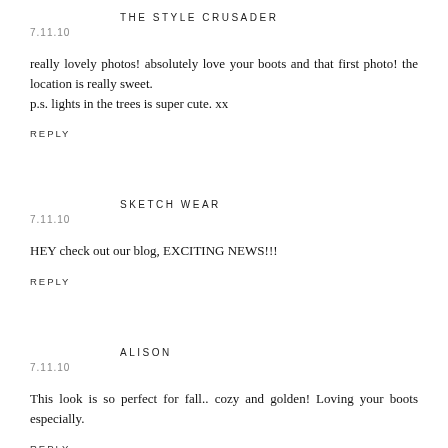THE STYLE CRUSADER
7.11.10
really lovely photos! absolutely love your boots and that first photo! the location is really sweet.
p.s. lights in the trees is super cute. xx
REPLY
SKETCH WEAR
7.11.10
HEY check out our blog, EXCITING NEWS!!!
REPLY
ALISON
7.11.10
This look is so perfect for fall.. cozy and golden! Loving your boots especially.
REPLY